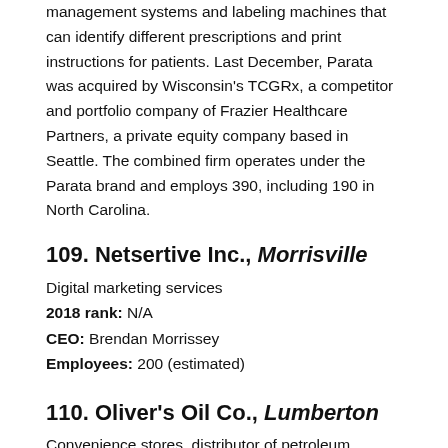management systems and labeling machines that can identify different prescriptions and print instructions for patients. Last December, Parata was acquired by Wisconsin's TCGRx, a competitor and portfolio company of Frazier Healthcare Partners, a private equity company based in Seattle. The combined firm operates under the Parata brand and employs 390, including 190 in North Carolina.
109. Netsertive Inc., Morrisville
Digital marketing services
2018 rank: N/A
CEO: Brendan Morrissey
Employees: 200 (estimated)
110. Oliver's Oil Co., Lumberton
Convenience stores, distributor of petroleum products